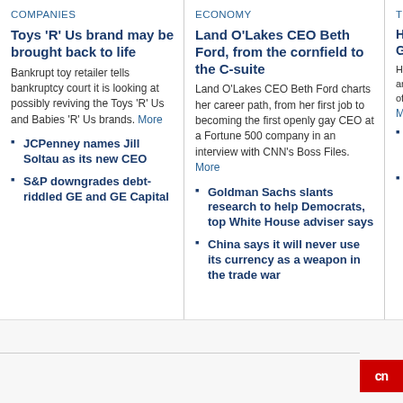COMPANIES
Toys 'R' Us brand may be brought back to life
Bankrupt toy retailer tells bankruptcy court it is looking at possibly reviving the Toys 'R' Us and Babies 'R' Us brands. More
JCPenney names Jill Soltau as its new CEO
S&P downgrades debt-riddled GE and GE Capital
ECONOMY
Land O'Lakes CEO Beth Ford, from the cornfield to the C-suite
Land O'Lakes CEO Beth Ford charts her career path, from her first job to becoming the first openly gay CEO at a Fortune 500 company in an interview with CNN's Boss Files. More
Goldman Sachs slants research to help Democrats, top White House adviser says
China says it will never use its currency as a weapon in the trade war
TEC
Honda... are cr... of fully... More
The ... suin... net r...
Bum... with... Priya...